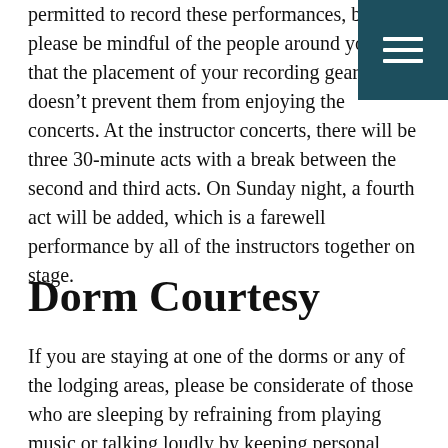permitted to record these performances, but please be mindful of the people around you so that the placement of your recording gear doesn't prevent them from enjoying the concerts. At the instructor concerts, there will be three 30-minute acts with a break between the second and third acts. On Sunday night, a fourth act will be added, which is a farewell performance by all of the instructors together on stage.
Dorm Courtesy
If you are staying at one of the dorms or any of the lodging areas, please be considerate of those who are sleeping by refraining from playing music or talking loudly by keeping personal alarm clocks on low, and limiting the traffic in and out of the room